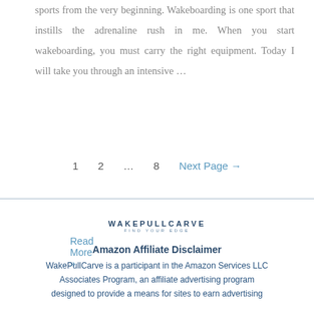sports from the very beginning. Wakeboarding is one sport that instills the adrenaline rush in me. When you start wakeboarding, you must carry the right equipment. Today I will take you through an intensive …
Read More »
1   2   …   8   Next Page →
[Figure (logo): WakePullCarve logo with tagline FIND YOUR EDGE]
Amazon Affiliate Disclaimer
WakePullCarve is a participant in the Amazon Services LLC Associates Program, an affiliate advertising program designed to provide a means for sites to earn advertising